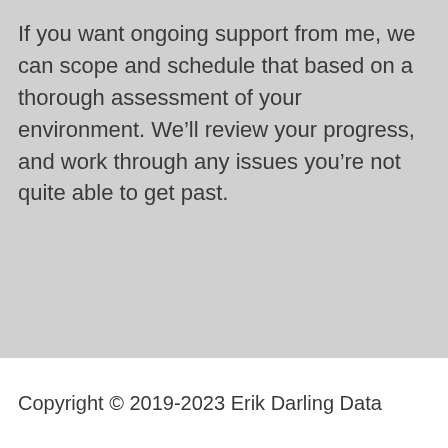If you want ongoing support from me, we can scope and schedule that based on a thorough assessment of your environment. We’ll review your progress, and work through any issues you’re not quite able to get past.
Copyright © 2019-2023 Erik Darling Data